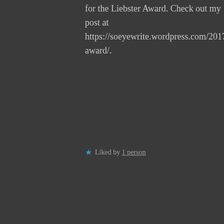for the Liebster Award. Check out my post at https://soeyewrite.wordpress.com/2017/06/21 award/.
★ Liked by 1 person
BEL says:
June 21, 2017 at 3:50 pm
Thank you Laronda 😊❤
Privacy & Cookies: This site uses cookies. By continuing to use this website, you agree to their use. To find out more, including how to control cookies, see here: Cookie Policy
Close and accept